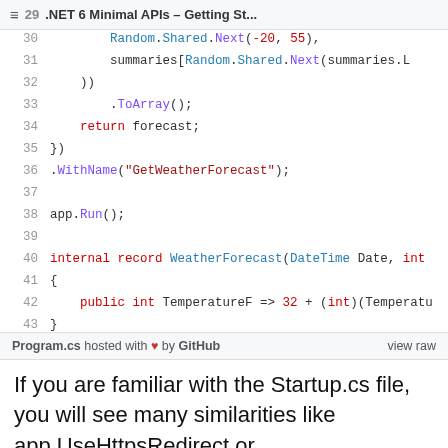.NET 6 Minimal APIs – Getting St...
[Figure (screenshot): Code snippet showing lines 30-43 of Program.cs file with C# code including Random.Shared.Next, summaries array, ToArray(), return forecast, WithName, app.Run(), and WeatherForecast record definition with TemperatureF property]
Program.cs hosted with ❤ by GitHub    view raw
If you are familiar with the Startup.cs file, you will see many similarities like app.UseHttpsRedirect or